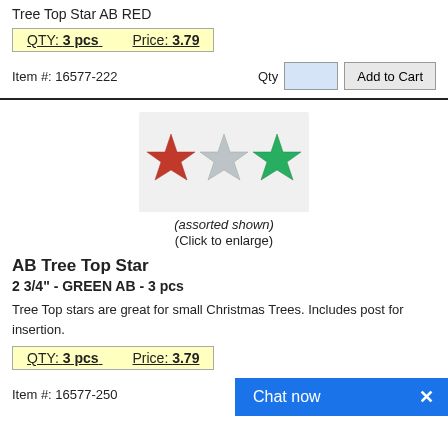Tree Top Star AB RED
QTY: 3 pcs   Price: 3.79
Item #: 16577-222
[Figure (photo): Three star tree toppers: red, silver, and green, shown as assorted]
(assorted shown)
(Click to enlarge)
AB Tree Top Star
2 3/4" -  GREEN AB - 3 pcs
Tree Top stars are great for small Christmas Trees. Includes post for insertion.
QTY: 3 pcs   Price: 3.79
Item #: 16577-250